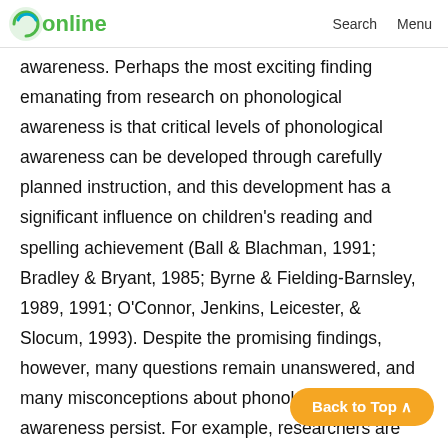LD online  Search  Menu
awareness. Perhaps the most exciting finding emanating from research on phonological awareness is that critical levels of phonological awareness can be developed through carefully planned instruction, and this development has a significant influence on children's reading and spelling achievement (Ball & Blachman, 1991; Bradley & Bryant, 1985; Byrne & Fielding-Barnsley, 1989, 1991; O'Connor, Jenkins, Leicester, & Slocum, 1993). Despite the promising findings, however, many questions remain unanswered, and many misconceptions about phonological awareness persist. For example, researchers are looking for ways to determine how much and what type of instruction is needed and for whom. Moreover, many people do not understand